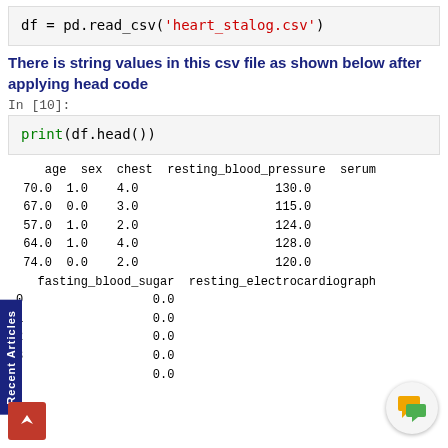df = pd.read_csv('heart_stalog.csv')
There is string values in this csv file as shown below after applying head code
In [10]:
print(df.head())
|  | age | sex | chest | resting_blood_pressure | serum... |
| --- | --- | --- | --- | --- | --- |
| 0 | 70.0 | 1.0 | 4.0 | 130.0 |  |
| 1 | 67.0 | 0.0 | 3.0 | 115.0 |  |
| 2 | 57.0 | 1.0 | 2.0 | 124.0 |  |
| 3 | 64.0 | 1.0 | 4.0 | 128.0 |  |
| 4 | 74.0 | 0.0 | 2.0 | 120.0 |  |
|  | fasting_blood_sugar | resting_electrocardiograph... |
| --- | --- | --- |
| 0 | 0.0 |  |
| 1 | 0.0 |  |
| 2 | 0.0 |  |
| 3 | 0.0 |  |
| 4 | 0.0 |  |